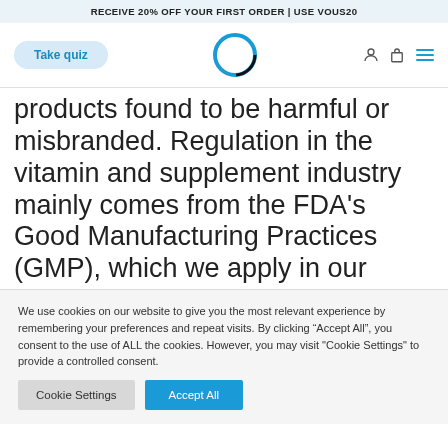RECEIVE 20% OFF YOUR FIRST ORDER | USE VOUS20
[Figure (screenshot): Navigation bar with Take quiz button, circular logo, user icon, cart icon, and hamburger menu]
products found to be harmful or misbranded. Regulation in the vitamin and supplement industry mainly comes from the FDA’s Good Manufacturing Practices (GMP), which we apply in our
We use cookies on our website to give you the most relevant experience by remembering your preferences and repeat visits. By clicking “Accept All”, you consent to the use of ALL the cookies. However, you may visit "Cookie Settings" to provide a controlled consent.
Cookie Settings   Accept All